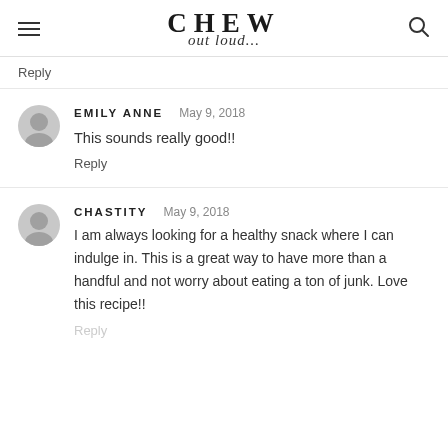CHEW out loud...
Reply
EMILY ANNE   May 9, 2018
This sounds really good!!
Reply
CHASTITY   May 9, 2018
I am always looking for a healthy snack where I can indulge in. This is a great way to have more than a handful and not worry about eating a ton of junk. Love this recipe!!
Reply